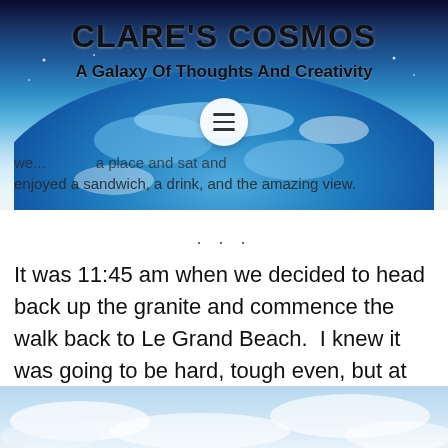[Figure (photo): Space/galaxy and Earth globe header background image for Clare's Cosmos blog]
CLARE'S COSMOS
A Galaxy Of Thoughts And Creativity
we ... (partial) ... a place and sat and enjoyed a sandwich, a drink, and the amazing view.
. . .
It was 11:45 am when we decided to head back up the granite and commence the walk back to Le Grand Beach.  I knew it was going to be hard, tough even, but at that point, I had no idea just how hard it was about to get.
[Figure (photo): Sky and clouds photograph at bottom of page]